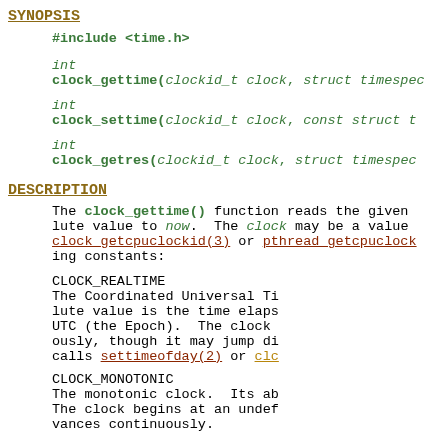SYNOPSIS
#include <time.h>
int
clock_gettime(clockid_t clock, struct timespec...
int
clock_settime(clockid_t clock, const struct t...
int
clock_getres(clockid_t clock, struct timespec...
DESCRIPTION
The clock_gettime() function reads the given lute value to now. The clock may be a value clock_getcpuclockid(3) or pthread_getcpuclock ing constants:
CLOCK_REALTIME   The Coordinated Universal Ti lute value is the time elaps UTC (the Epoch). The clock ously, though it may jump di calls settimeofday(2) or clc
CLOCK_MONOTONIC  The monotonic clock. Its ab The clock begins at an undef vances continuously.